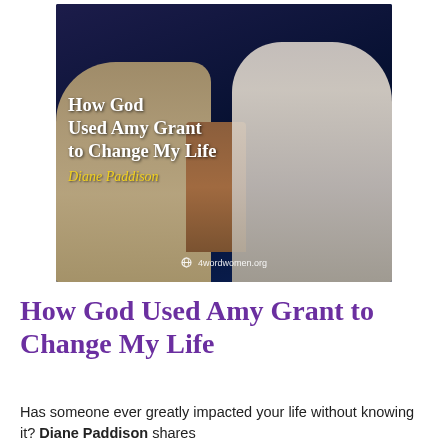[Figure (photo): Two women greeting each other joyfully near a wooden podium on a stage with dark blue curtains in the background. Text overlay reads 'How God Used Amy Grant to Change My Life' by Diane Paddison, with 4wordwomen.org logo.]
How God Used Amy Grant to Change My Life
Has someone ever greatly impacted your life without knowing it? Diane Paddison shares